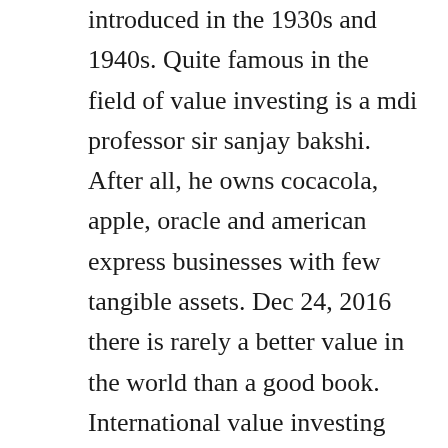introduced in the 1930s and 1940s. Quite famous in the field of value investing is a mdi professor sir sanjay bakshi. After all, he owns cocacola, apple, oracle and american express businesses with few tangible assets. Dec 24, 2016 there is rarely a better value in the world than a good book. International value investing conference international.
As a value fund manager myself, i have never felt that an investment skill set alone is the determining factor in beating the stock market. Ben graham centre for value investing is developing a book. Premium value